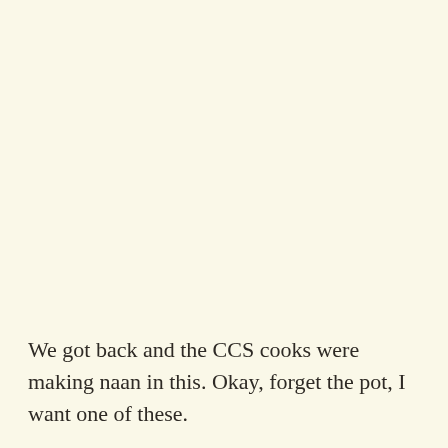We got back and the CCS cooks were making naan in this. Okay, forget the pot, I want one of these.